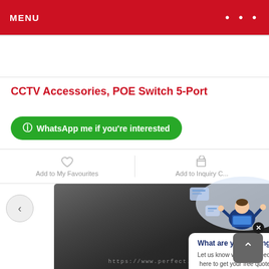MENU  •••
CCTV Accessories, POE Switch 5-Port
WhatsApp me if you're interested
Add to My Favourites
Add to Inquiry C...
[Figure (photo): Product photo of POE Switch 5-Port device, dark enclosure, with URL watermark https://www.perfect.com.my]
[Figure (illustration): Chatbot or assistant popup illustration showing a person at laptop with floating UI icons, with popup box asking 'What are you looking for? Let us know what you need. Click here to get your free quote now!']
What are you looking for?
Let us know what you need. Click here to get your free quote now!